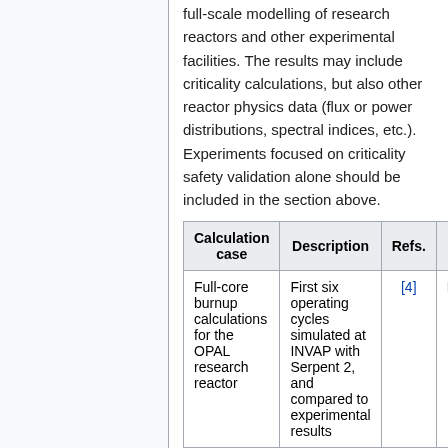This section collects studies involving full-scale modelling of research reactors and other experimental facilities. The results may include criticality calculations, but also other reactor physics data (flux or power distributions, spectral indices, etc.). Experiments focused on criticality safety validation alone should be included in the section above.
| Calculation case | Description | Refs. | Fi... |
| --- | --- | --- | --- |
| Full-core burnup calculations for the OPAL research reactor | First six operating cycles simulated at INVAP with Serpent 2, and compared to experimental results | [4] | N/A |